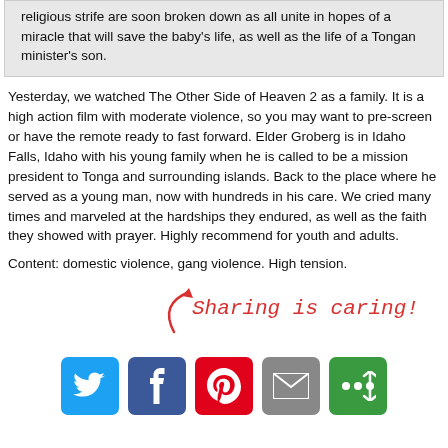religious strife are soon broken down as all unite in hopes of a miracle that will save the baby's life, as well as the life of a Tongan minister's son.
Yesterday, we watched The Other Side of Heaven 2 as a family. It is a high action film with moderate violence, so you may want to pre-screen or have the remote ready to fast forward. Elder Groberg is in Idaho Falls, Idaho with his young family when he is called to be a mission president to Tonga and surrounding islands. Back to the place where he served as a young man, now with hundreds in his care. We cried many times and marveled at the hardships they endured, as well as the faith they showed with prayer. Highly recommend for youth and adults.
Content: domestic violence, gang violence. High tension.
[Figure (infographic): Sharing is caring! text in red cursive with a red curved arrow pointing to social media share buttons: Twitter (blue), Facebook (dark blue), Pinterest (red), Email (gray), More (green)]